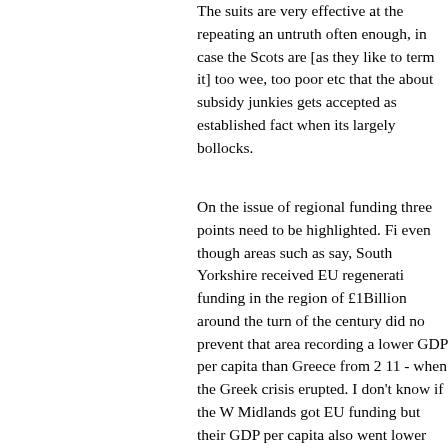The suits are very effective at the repeating an untruth often enough, in case the Scots are [as they like to term it] too wee, too poor etc that the about subsidy junkies gets accepted as established fact when its largely bollocks.
On the issue of regional funding three points need to be highlighted. Fi even though areas such as say, South Yorkshire received EU regenerati funding in the region of £1Billion around the turn of the century did no prevent that area recording a lower GDP per capita than Greece from 2 11 - when the Greek crisis erupted. I don't know if the W Midlands got EU funding but their GDP per capita also went lower than Greece in th aftermath of the 2008 crash. The question is why?
Which leads to the second point. The jobs and industries which the loc economies of the communities in those regions, many of which voted o depended on were not lost recently to immigrant labour. They were exp abroad because successive British Governments in thrall to the City of London failed to support those industries in the pursuit of a fast buck. were importing coal from Poland, South America and other parts of the outside Europe years and years before Poland entered the EU. Ditto fo and other manufacturing products.
Far more jobs and industries have been lost with the consequence of devastating whole communities and local economies for decades on em since the late 70's export of those industries from free capital movem